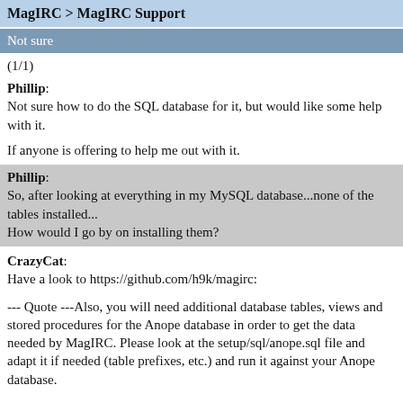MagIRC > MagIRC Support
Not sure
(1/1)
Phillip:
Not sure how to do the SQL database for it, but would like some help with it.

If anyone is offering to help me out with it.
Phillip:
So, after looking at everything in my MySQL database...none of the tables installed...
How would I go by on installing them?
CrazyCat:
Have a look to https://github.com/h9k/magirc:

--- Quote ---Also, you will need additional database tables, views and stored procedures for the Anope database in order to get the data needed by MagIRC. Please look at the setup/sql/anope.sql file and adapt it if needed (table prefixes, etc.) and run it against your Anope database.